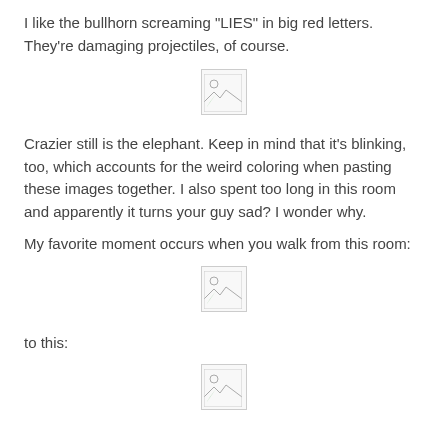I like the bullhorn screaming "LIES" in big red letters. They're damaging projectiles, of course.
[Figure (photo): Broken/missing image placeholder]
Crazier still is the elephant. Keep in mind that it's blinking, too, which accounts for the weird coloring when pasting these images together. I also spent too long in this room and apparently it turns your guy sad? I wonder why.

My favorite moment occurs when you walk from this room:
[Figure (photo): Broken/missing image placeholder]
to this:
[Figure (photo): Broken/missing image placeholder]